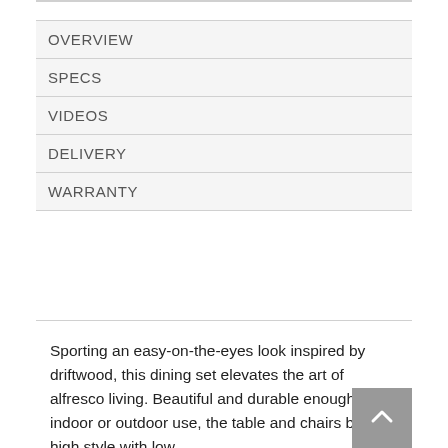OVERVIEW
SPECS
VIDEOS
DELIVERY
WARRANTY
Sporting an easy-on-the-eyes look inspired by driftwood, this dining set elevates the art of alfresco living. Beautiful and durable enough for indoor or outdoor use, the table and chairs blend high style with low